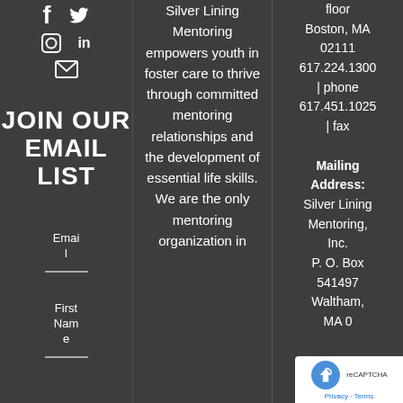[Figure (illustration): Social media icons: Facebook (f), Twitter bird, Instagram circle-square, LinkedIn (in), Email envelope]
JOIN OUR EMAIL LIST
Email
First Name
Silver Lining Mentoring empowers youth in foster care to thrive through committed mentoring relationships and the development of essential life skills. We are the only mentoring organization in
floor
Boston, MA 02111
617.224.1300 | phone
617.451.1025 | fax

Mailing Address:
Silver Lining Mentoring, Inc.
P. O. Box 541497
Waltham, MA 0